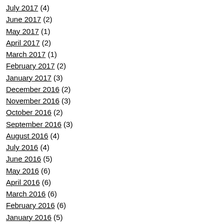July 2017 (4)
June 2017 (2)
May 2017 (1)
April 2017 (2)
March 2017 (1)
February 2017 (2)
January 2017 (3)
December 2016 (2)
November 2016 (3)
October 2016 (2)
September 2016 (3)
August 2016 (4)
July 2016 (4)
June 2016 (5)
May 2016 (6)
April 2016 (6)
March 2016 (6)
February 2016 (6)
January 2016 (5)